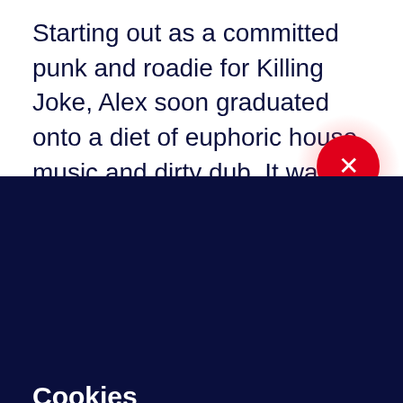Starting out as a committed punk and roadie for Killing Joke, Alex soon graduated onto a diet of euphoric house music and dirty dub. It was these influences that went on to feed the
[Figure (other): Red circular close button with white X, positioned at top right overlapping the content boundary]
Cookies
We use cookies to improve your experience on our website, assess how you use our website and for website security purposes. By continuing to navigate this website, we'll assume you agree to this. Read more about what cookies do and how to adjust your settings here.